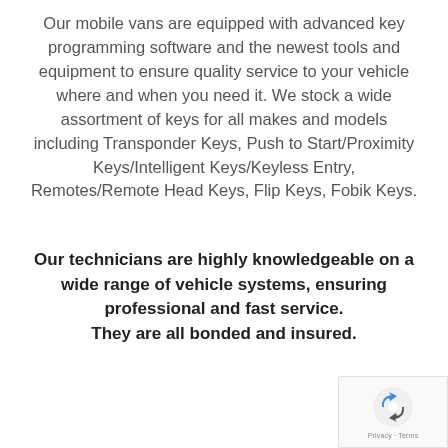Our mobile vans are equipped with advanced key programming software and the newest tools and equipment to ensure quality service to your vehicle where and when you need it. We stock a wide assortment of keys for all makes and models including Transponder Keys, Push to Start/Proximity Keys/Intelligent Keys/Keyless Entry, Remotes/Remote Head Keys, Flip Keys, Fobik Keys.
Our technicians are highly knowledgeable on a wide range of vehicle systems, ensuring professional and fast service. They are all bonded and insured.
[Figure (logo): reCAPTCHA badge with Privacy and Terms links]